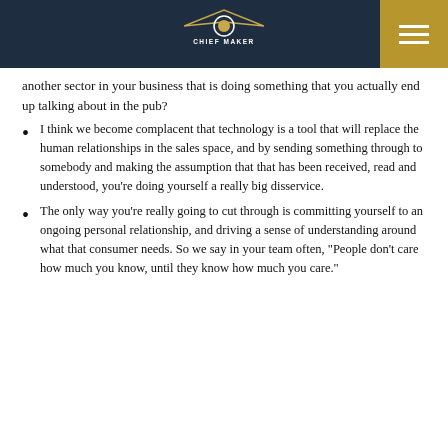Chief Maker
another sector in your business that is doing something that you actually end up talking about in the pub?
I think we become complacent that technology is a tool that will replace the human relationships in the sales space, and by sending something through to somebody and making the assumption that that has been received, read and understood, you’re doing yourself a really big disservice.
The only way you’re really going to cut through is committing yourself to an ongoing personal relationship, and driving a sense of understanding around what that consumer needs. So we say in your team often, “People don’t care how much you know, until they know how much you care.”